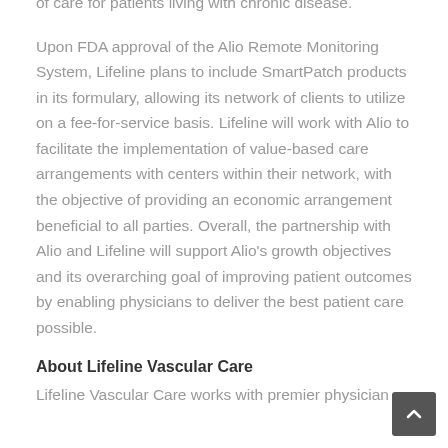of care for patients living with chronic disease.
Upon FDA approval of the Alio Remote Monitoring System, Lifeline plans to include SmartPatch products in its formulary, allowing its network of clients to utilize on a fee-for-service basis. Lifeline will work with Alio to facilitate the implementation of value-based care arrangements with centers within their network, with the objective of providing an economic arrangement beneficial to all parties. Overall, the partnership with Alio and Lifeline will support Alio's growth objectives and its overarching goal of improving patient outcomes by enabling physicians to deliver the best patient care possible.
About Lifeline Vascular Care
Lifeline Vascular Care works with premier physician